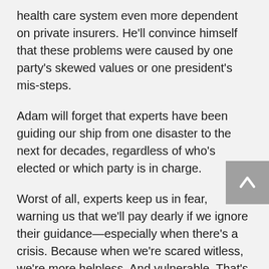health care system even more dependent on private insurers. He'll convince himself that these problems were caused by one party's skewed values or one president's mis-steps.
Adam will forget that experts have been guiding our ship from one disaster to the next for decades, regardless of who's elected or which party is in charge.
Worst of all, experts keep us in fear, warning us that we'll pay dearly if we ignore their guidance—especially when there's a crisis. Because when we're scared witless, we're more helpless. And vulnerable. That's when we need someone to protect us and give us answers and assurances.
This is the world we've slipped into, one crisis at a time. After 9/11, security experts told us that we had to trade our freedoms for safety. No wonder it's hard to...